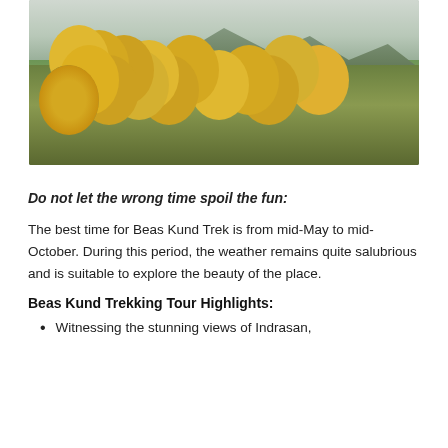[Figure (photo): Landscape photo of yellow wildflowers in a mountain valley with misty rocky peaks in the background and green slopes]
Do not let the wrong time spoil the fun:
The best time for Beas Kund Trek is from mid-May to mid-October. During this period, the weather remains quite salubrious and is suitable to explore the beauty of the place.
Beas Kund Trekking Tour Highlights:
Witnessing the stunning views of Indrasan,